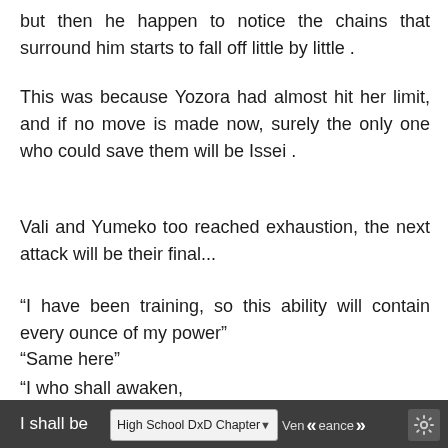but then he happen to notice the chains that surround him starts to fall off little by little .
This was because Yozora had almost hit her limit, and if no move is made now, surely the only one who could save them will be Issei .
Vali and Yumeko too reached exhaustion, the next attack will be their final...
“I have been training, so this ability will contain every ounce of my power”
“Same here”
“I who shall awaken,
I am the Heavenly Dragon who borrowed the principal of domination from Gods,
I despise the ‘infinite’ and decline the ‘dream’,
I shall be
High School DxD Chapter  Vengeance